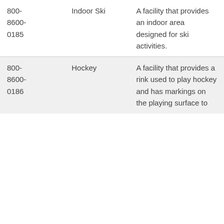| Code | Type | Description |
| --- | --- | --- |
| 800-8600-0185 | Indoor Ski | A facility that provides an indoor area designed for ski activities. |
| 800-8600-0186 | Hockey | A facility that provides a rink used to play hockey and has markings on the playing surface to... |